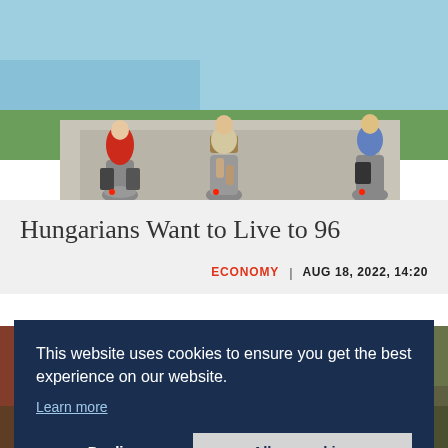[Figure (photo): Three cyclists riding bikes on a path with grass and water in the background; rear view showing one in red shirt, one with basket, one on right edge]
Hungarians Want to Live to 96
ECONOMY | AUG 18, 2022, 14:20
[Figure (photo): Partial background photo partially obscured by cookie consent banner]
This website uses cookies to ensure you get the best experience on our website.
Learn more
Decline
Allow cookies